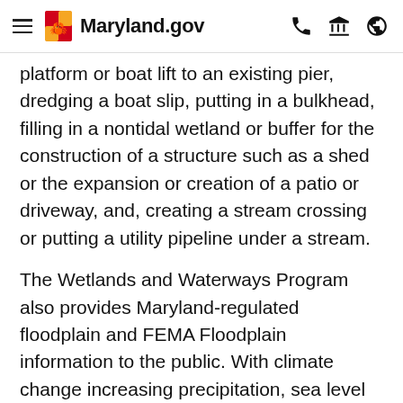Maryland.gov
platform or boat lift to an existing pier, dredging a boat slip, putting in a bulkhead, filling in a nontidal wetland or buffer for the construction of a structure such as a shed or the expansion or creation of a patio or driveway, and, creating a stream crossing or putting a utility pipeline under a stream.
The Wetlands and Waterways Program also provides Maryland-regulated floodplain and FEMA Floodplain information to the public. With climate change increasing precipitation, sea level rise and flooding in Maryland, protecting and restoring wetlands, waterways, and their buffers will be critical to securing a resilient future for Maryland’s citizens and ecosystems. To learn more about MDE’s Water and Science Administration’s detailed climate